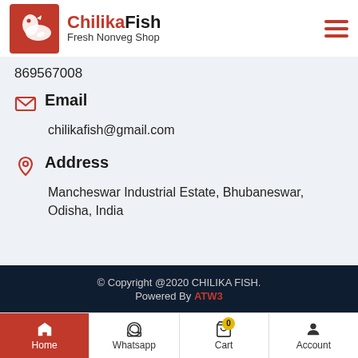ChilikaFish Fresh Nonveg Shop
869567008
Email
chilikafish@gmail.com
Address
Mancheswar Industrial Estate, Bhubaneswar, Odisha, India
© Copyright @2020 CHILIKA FISH. Powered By ATW3
Home | Whatsapp | Cart | Account